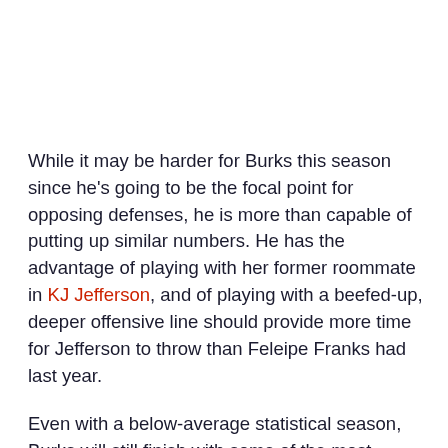While it may be harder for Burks this season since he's going to be the focal point for opposing defenses, he is more than capable of putting up similar numbers. He has the advantage of playing with her former roommate in KJ Jefferson, and of playing with a beefed-up, deeper offensive line should provide more time for Jefferson to throw than Feleipe Franks had last year.
Even with a below-average statistical season, Burks will still finish with some of the most impressive career receiving numbers in program history. However, to earn the "G.O.A.T." moniker, Burks needs another spectacular individual season.